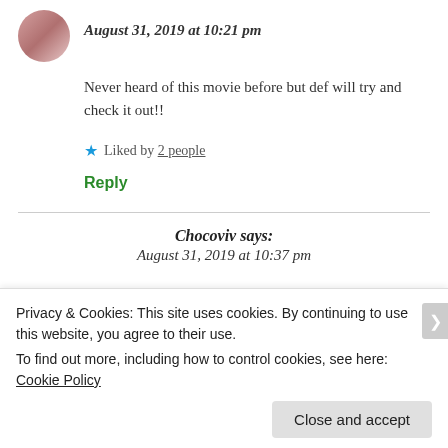August 31, 2019 at 10:21 pm
Never heard of this movie before but def will try and check it out!!
★ Liked by 2 people
Reply
Chocoviv says:
August 31, 2019 at 10:37 pm
Privacy & Cookies: This site uses cookies. By continuing to use this website, you agree to their use.
To find out more, including how to control cookies, see here: Cookie Policy